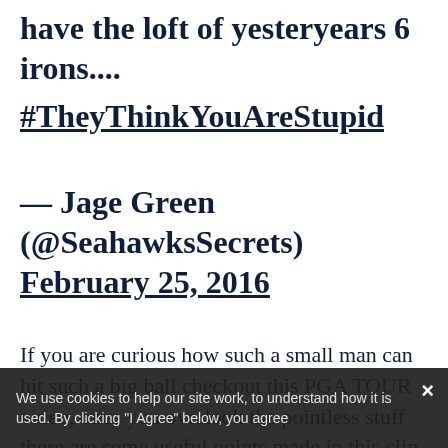have the loft of yesteryears 6 irons....
#TheyThinkYouAreStupid
— Jage Green (@SeahawksSecrets) February 25, 2016
If you are curious how such a small man can hit such a big ball checkout this PGA TOUR video, once you overlook the pointless stuff there are some useful points made in this clip.
We use cookies to help our site work, to understand how it is used. By clicking "I Agree" below, you agree